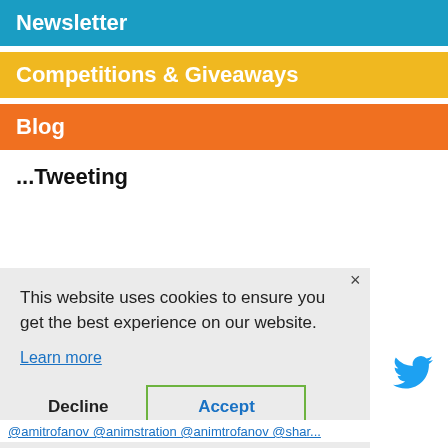Newsletter
Competitions & Giveaways
Blog
...Tweeting
[Figure (screenshot): Cookie consent dialog overlay with 'This website uses cookies to ensure you get the best experience on our website.' text, Learn more link, Decline and Accept buttons. Partial background shows numbers 288, 'am', 'or our' and a Twitter bird icon on the right side.]